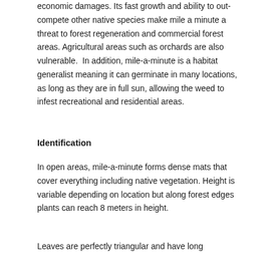economic damages. Its fast growth and ability to out-compete other native species make mile a minute a threat to forest regeneration and commercial forest areas. Agricultural areas such as orchards are also vulnerable.  In addition, mile-a-minute is a habitat generalist meaning it can germinate in many locations, as long as they are in full sun, allowing the weed to infest recreational and residential areas.
Identification
In open areas, mile-a-minute forms dense mats that cover everything including native vegetation. Height is variable depending on location but along forest edges plants can reach 8 meters in height.
Leaves are perfectly triangular and have long